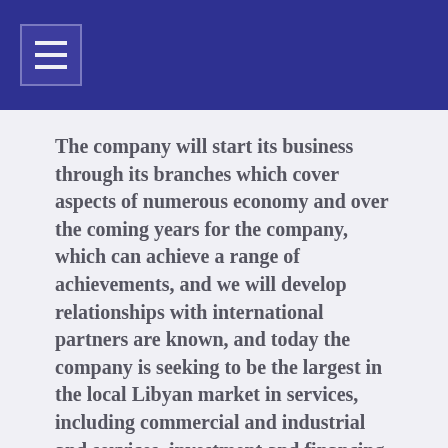The company will start its business through its branches which cover aspects of numerous economy and over the coming years for the company, which can achieve a range of achievements, and we will develop relationships with international partners are known, and today the company is seeking to be the largest in the local Libyan market in services, including commercial and industrial and services, investment and financing projects.
Our main objective is to provide all what he needs our customer services, you will find